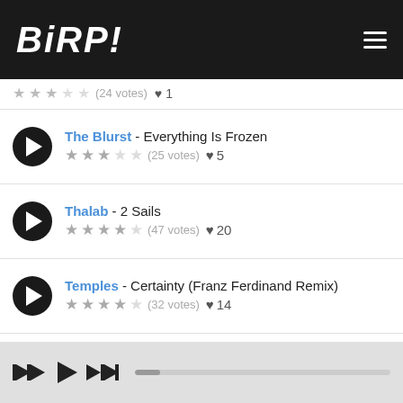BIRP! (logo header with hamburger menu)
The Blurst - Everything Is Frozen ★★★☆☆ (25 votes) ♥ 5
Thalab - 2 Sails ★★★★☆ (47 votes) ♥ 20
Temples - Certainty (Franz Ferdinand Remix) ★★★½☆ (32 votes) ♥ 14
Sylvan Esso - Kick Jump Twist ★★★½☆ (25 votes) ♥ 8
SWEAT - Lil Moments (partial)
Player bar with prev/play/next controls and progress bar